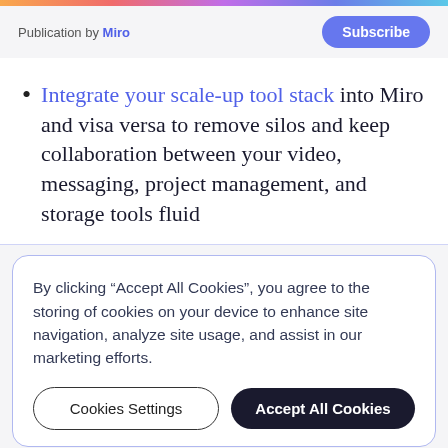Publication by Miro
Integrate your scale-up tool stack into Miro and visa versa to remove silos and keep collaboration between your video, messaging, project management, and storage tools fluid
By clicking “Accept All Cookies”, you agree to the storing of cookies on your device to enhance site navigation, analyze site usage, and assist in our marketing efforts.
Cookies Settings | Accept All Cookies